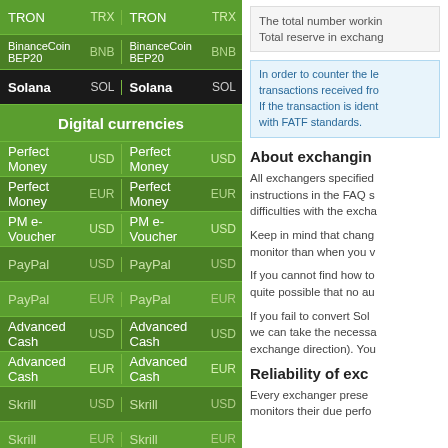| Currency | Code | Currency | Code |
| --- | --- | --- | --- |
| TRON | TRX | TRON | TRX |
| BinanceCoin BEP20 | BNB | BinanceCoin BEP20 | BNB |
| Solana | SOL | Solana | SOL |
| Digital currencies |  |  |  |
| Perfect Money | USD | Perfect Money | USD |
| Perfect Money | EUR | Perfect Money | EUR |
| PM e-Voucher | USD | PM e-Voucher | USD |
| PayPal | USD | PayPal | USD |
| PayPal | EUR | PayPal | EUR |
| Advanced Cash | USD | Advanced Cash | USD |
| Advanced Cash | EUR | Advanced Cash | EUR |
| Skrill | USD | Skrill | USD |
| Skrill | EUR | Skrill | EUR |
| WebMoney | WMZ | WebMoney | WMZ |
| Payeer | USD | Payeer | USD |
| Neteller | USD | Neteller | USD |
| Neteller | EUR | Neteller | EUR |
| Epay | USD | Epay | USD |
| Payoneer | USD | Payoneer | USD |
The total number working... Total reserve in exchang...
In order to counter the le... transactions received fro... If the transaction is ident... with FATF standards.
About exchangin
All exchangers specified... instructions in the FAQ s... difficulties with the excha...
Keep in mind that chang... monitor than when you v...
If you cannot find how to... quite possible that no au...
If you fail to convert Sola... we can take the necessa... exchange direction). You...
Reliability of exc
Every exchanger prese... monitors their due perfo...